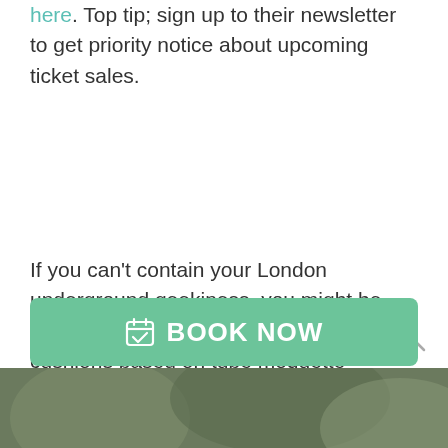here. Top tip; sign up to their newsletter to get priority notice about upcoming ticket sales.
If you can't contain your London underground geekiness, you might be interested in their shop which has cushions based on tube moquette patterns and all kinds of TFL paraphernalia! Look Up London readers can get 20% until 31 May 2019 with code; LOOKUP20 from their shop
[Figure (other): Green 'BOOK NOW' button with calendar icon]
[Figure (photo): Partial photo strip at bottom of page]